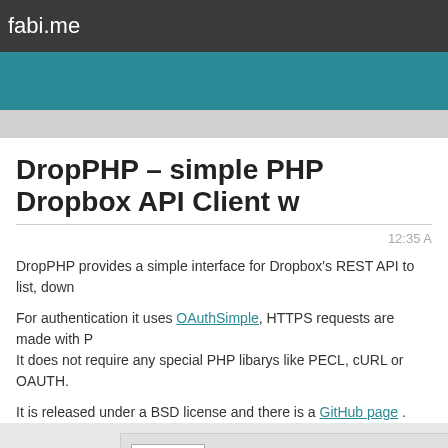fabi.me
DropPHP – simple PHP Dropbox API Client w
12:35 A
DropPHP provides a simple interface for Dropbox's REST API to list, down
For authentication it uses OAuthSimple, HTTPS requests are made with P
It does not require any special PHP libarys like PECL, cURL or OAUTH.
It is released under a BSD license and there is a GitHub page .
[Figure (screenshot): Download card for DropPHP showing icon, title DropPHP, master.zip.html, Version: 1.4, 12 downloads count (truncated), 15315 Downloads, DETAIL button]